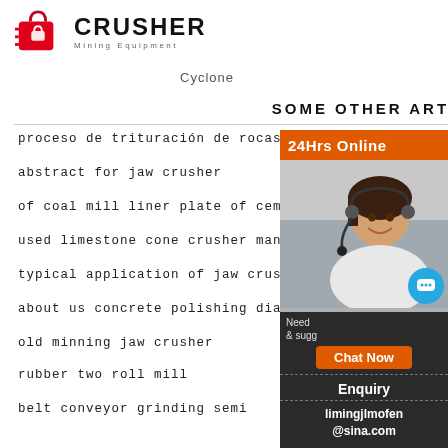CRUSHER Mining Equipment
Cyclone
Ceramic filter
SOME OTHER ARTICLES
proceso de trituración de rocas
abstract for jaw crusher
of coal mill liner plate of cement plant
used limestone cone crusher manufacturer in
typical application of jaw crusher and its imag
about us concrete polishing diamond finish
old minning jaw crusher
rubber two roll mill
belt conveyor grinding semi
[Figure (photo): 24Hrs Online sidebar with a customer service representative wearing a headset, chat now button, enquiry section, and email limingjlmofen@sina.com]